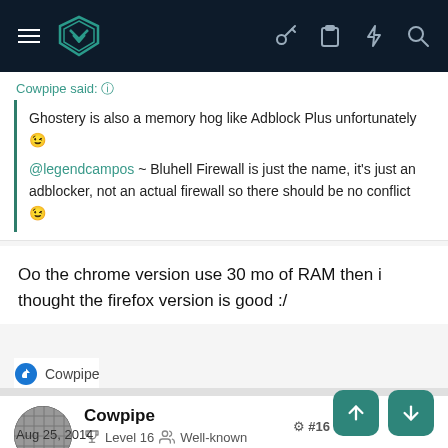Malwaretips forum navbar with logo and icons
Cowpipe said:
Ghostery is also a memory hog like Adblock Plus unfortunately 😉
@legendcampos ~ Bluhell Firewall is just the name, it's just an adblocker, not an actual firewall so there should be no conflict 😉
Oo the chrome version use 30 mo of RAM then i thought the firefox version is good :/
Cowpipe
Cowpipe  Level 16  Well-known
Aug 25, 2014
#16